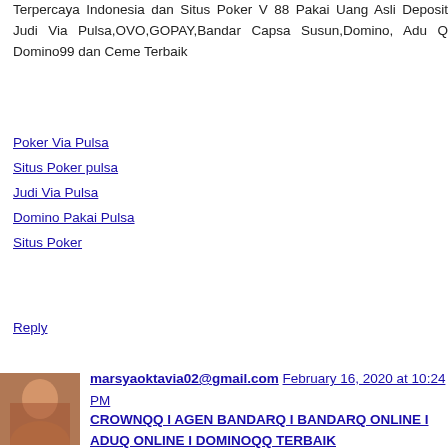Terpercaya Indonesia dan Situs Poker V 88 Pakai Uang Asli Deposit Judi Via Pulsa,OVO,GOPAY,Bandar Capsa Susun,Domino, Adu Q Domino99 dan Ceme Terbaik
Poker Via Pulsa
Situs Poker pulsa
Judi Via Pulsa
Domino Pakai Pulsa
Situs Poker
Reply
marsyaoktavia02@gmail.com February 16, 2020 at 10:24 PM
CROWNQQ I AGEN BANDARQ I BANDARQ ONLINE I ADUQ ONLINE I DOMINOQQ TERBAIK
Yuk Buruan ikutan bermain di website Agen BandarQ
Sekarang CROWNQQ Memiliki Game terbaru Dan Ternama loh...